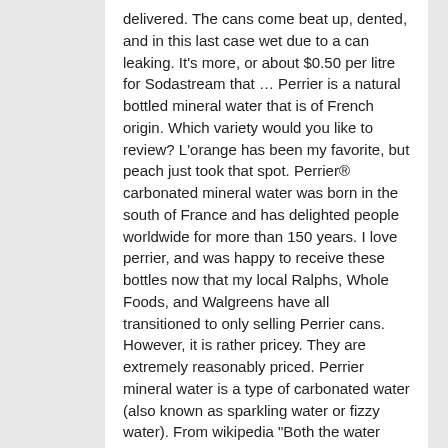delivered. The cans come beat up, dented, and in this last case wet due to a can leaking. It's more, or about $0.50 per litre for Sodastream that … Perrier is a natural bottled mineral water that is of French origin. Which variety would you like to review? L'orange has been my favorite, but peach just took that spot. Perrier® carbonated mineral water was born in the south of France and has delighted people worldwide for more than 150 years. I love perrier, and was happy to receive these bottles now that my local Ralphs, Whole Foods, and Walgreens have all transitioned to only selling Perrier cans. However, it is rather pricey. They are extremely reasonably priced. Perrier mineral water is a type of carbonated water (also known as sparkling water or fizzy water). From wikipedia "Both the water